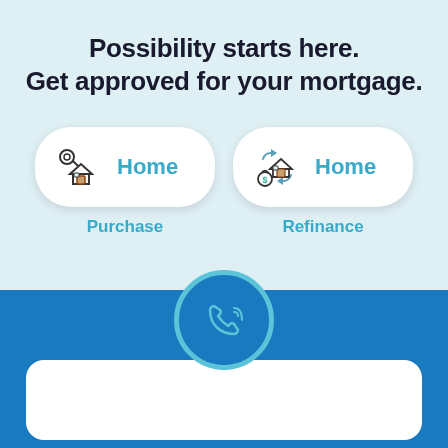Possibility starts here.
Get approved for your mortgage.
[Figure (illustration): Two option cards side by side: left card shows a house/key icon with text 'Home' and caption 'Purchase'; right card shows a house/money bag refinance icon with text 'Home' and caption 'Refinance']
[Figure (illustration): Blue section at bottom with circular phone/call icon in teal and a white rounded card below it]